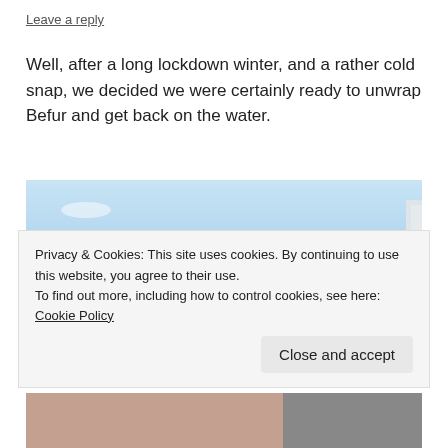Leave a reply
Well, after a long lockdown winter, and a rather cold snap, we decided we were certainly ready to unwrap Befur and get back on the water.
[Figure (photo): Outdoor photo showing a person with blonde hair in the foreground, hills with trees in the background, blue sky, and a white panel/structure on the right side.]
Privacy & Cookies: This site uses cookies. By continuing to use this website, you agree to their use.
To find out more, including how to control cookies, see here: Cookie Policy

Close and accept